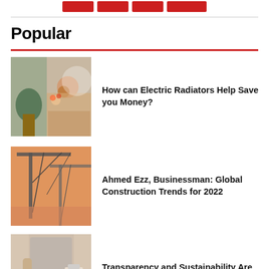[Figure (other): Four red navigation/category buttons in a row at the top of the page]
Popular
[Figure (photo): Interior home scene with candles, plant, and warm cozy decor]
How can Electric Radiators Help Save you Money?
[Figure (photo): Construction cranes against a warm orange sky]
Ahmed Ezz, Businessman: Global Construction Trends for 2022
[Figure (photo): Person wearing casual shirt and belt holding shopping bags]
Transparency and Sustainability Are The Future of Sustainable Fashion